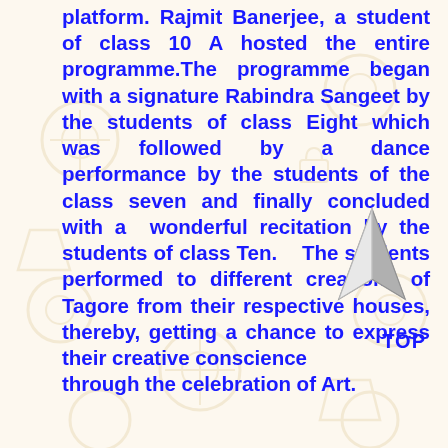platform. Rajmit Banerjee, a student of class 10 A hosted the entire programme.The programme began with a signature Rabindra Sangeet by the students of class Eight which was followed by a dance performance by the students of the class seven and finally concluded with a wonderful recitation by the students of class Ten.  The students performed to different creations of Tagore from their respective houses, thereby, getting a chance to express their creative conscience through the celebration of Art.
TOP